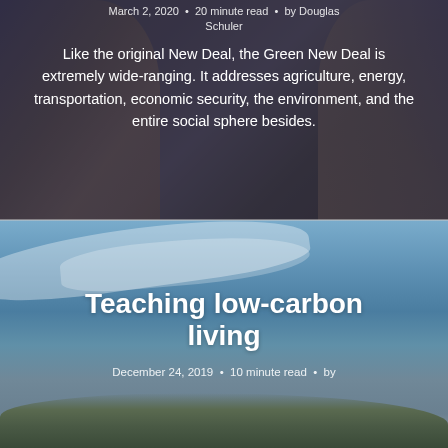[Figure (photo): Background painted mural image of workers, partially obscured by dark overlay, for an article about the Green New Deal]
March 2, 2020 • 20 minute read • by Douglas Schuler
Like the original New Deal, the Green New Deal is extremely wide-ranging. It addresses agriculture, energy, transportation, economic security, the environment, and the entire social sphere besides.
[Figure (photo): Aerial or landscape photo with blue sky, clouds, and rolling hills or mountains in the distance, used as background for the Teaching low-carbon living article card]
Teaching low-carbon living
December 24, 2019 • 10 minute read • by